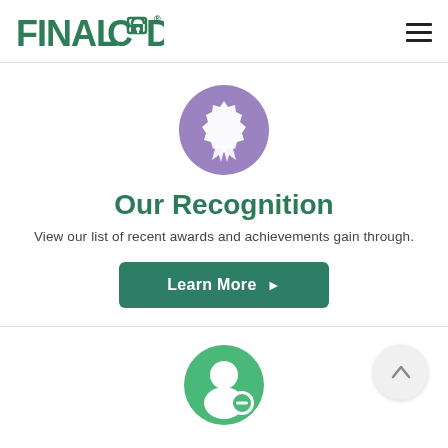FINALCODE (logo with lock icon) — hamburger menu
[Figure (illustration): Purple circle with white award/ribbon icon]
Our Recognition
View our list of recent awards and achievements gain through.
Learn More ▶
[Figure (illustration): Green circle with white user/person icon with minus badge, and a scroll-to-top button (light gray circle with upward arrow)]